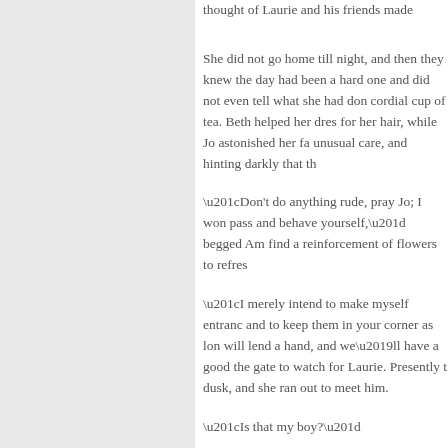thought of Laurie and his friends made
She did not go home till night, and then they knew the day had been a hard one and did not even tell what she had done cordial cup of tea. Beth helped her dress for her hair, while Jo astonished her fa unusual care, and hinting darkly that th
“Don't do anything rude, pray Jo; I won pass and behave yourself,” begged Am find a reinforcement of flowers to refres
“I merely intend to make myself entranc and to keep them in your corner as lon will lend a hand, and we’ll have a good the gate to watch for Laurie. Presently dusk, and she ran out to meet him.
“Is that my boy?”
“As sure as this is my girl!” and Laurie